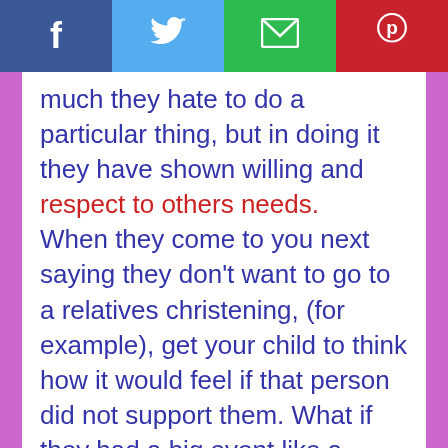[Figure (other): Social sharing bar with Facebook, Twitter, Email, and Pinterest buttons]
much they hate to do a particular thing, but in doing it they have shown willing and respect to others needs.

When they come to you next saying they don't want to go to a relatives christening, (for example), get your child to think how it would feel if that person did not support them. What if they had a big event like a football match, sporting event or a performance and nobody showed up to watch. How would they feel to